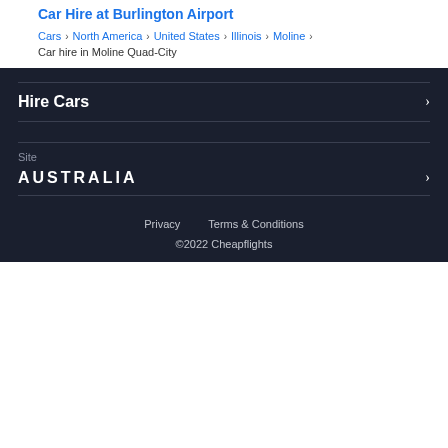Car Hire at Burlington Airport
Cars > North America > United States > Illinois > Moline >
Car hire in Moline Quad-City
Hire Cars
Site
AUSTRALIA
Privacy   Terms & Conditions
©2022 Cheapflights